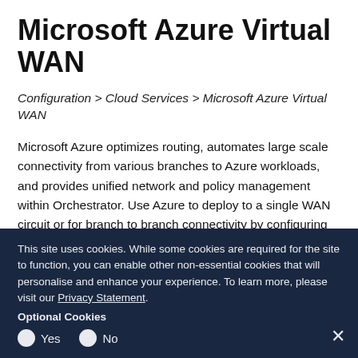Microsoft Azure Virtual WAN
Configuration > Cloud Services > Microsoft Azure Virtual WAN
Microsoft Azure optimizes routing, automates large scale connectivity from various branches to Azure workloads, and provides unified network and policy management within Orchestrator. Use Azure to deploy to a single WAN circuit or for branch to branch connectivity by configuring virtual WANs to associated hubs.
Before you begin Microsoft Azure Virtual WAN configuration
This site uses cookies. While some cookies are required for the site to function, you can enable other non-essential cookies that will personalise and enhance your experience. To learn more, please visit our Privacy Statement.
Optional Cookies
Yes  No